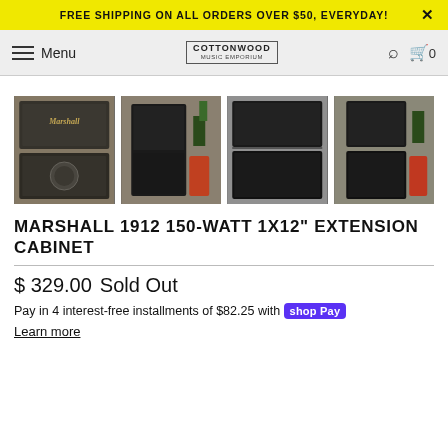FREE SHIPPING ON ALL ORDERS OVER $50, EVERYDAY!
Menu | COTTONWOOD MUSIC EMPORIUM | Search | Cart 0
[Figure (photo): Four thumbnail photos of Marshall 1912 150-Watt 1x12 Extension Cabinet from different angles, showing dark gray speaker cabinet stacked configurations.]
MARSHALL 1912 150-WATT 1X12" EXTENSION CABINET
$ 329.00 Sold Out
Pay in 4 interest-free installments of $82.25 with shop Pay
Learn more